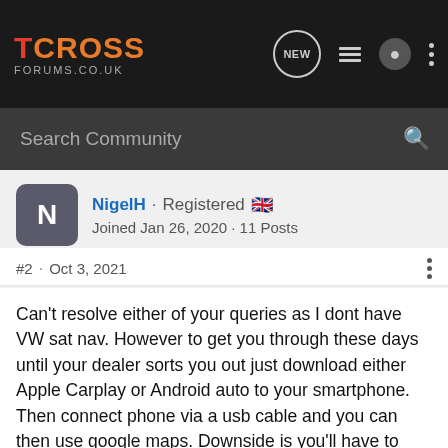TCROSS FORUMS.CO.UK
Search Community
NigelH · Registered 🇬🇧 Joined Jan 26, 2020 · 11 Posts
#2 · Oct 3, 2021
Can't resolve either of your queries as I dont have VW sat nav. However to get you through these days until your dealer sorts you out just download either Apple Carplay or Android auto to your smartphone. Then connect phone via a usb cable and you can then use google maps. Downside is you'll have to disconnect your phone at each visit as you wouldnt want to leave it in the car.
People often say the VW sat nav not the best so might not be worth paying extra for if Google Maps works?

As for WE Connect - also not heard much good about it on this